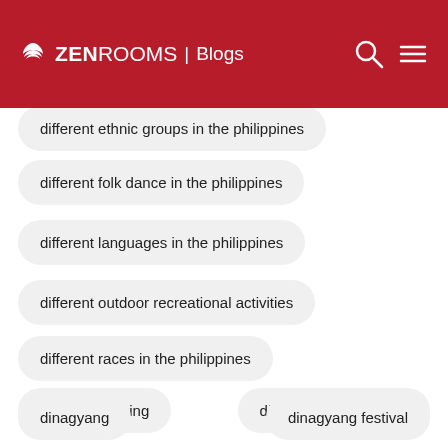ZEN ROOMS | Blogs
different ethnic groups in the philippines
different folk dance in the philippines
different languages in the philippines
different outdoor recreational activities
different races in the philippines
digital marketing
din tai fung pampanga
dinagyang
dinagyang festival
dinagyang festival 2020
dinalupihan bataan tourist spots